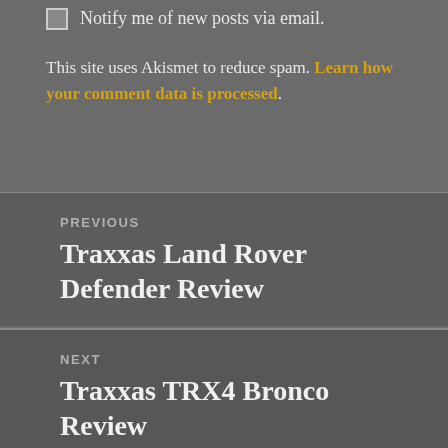☐ Notify me of new posts via email.
This site uses Akismet to reduce spam. Learn how your comment data is processed.
PREVIOUS
Traxxas Land Rover Defender Review
NEXT
Traxxas TRX4 Bronco Review